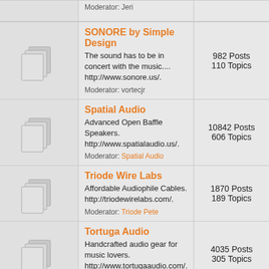Moderator: Jeri
SONORE by Simple Design — The sound has to be in concert with the music.... http://www.sonore.us/. Moderator: vortecjr — 982 Posts, 110 Topics
Spatial Audio — Advanced Open Baffle Speakers. http://www.spatialaudio.us/. Moderator: Spatial Audio — 10842 Posts, 606 Topics
Triode Wire Labs — Affordable Audiophile Cables. http://triodewirelabs.com/. Moderator: Triode Pete — 1870 Posts, 189 Topics
Tortuga Audio — Handcrafted audio gear for music lovers. http://www.tortugaaudio.com/. Moderator: tortugaranger — 4035 Posts, 305 Topics
Vista Audio — Audio: a step ahead. http://www.vista-audio.com/. Moderator: Audiovista — 1294 Posts, 131 Topics. Child Boards: Verty Audio
Well Tempered Lab